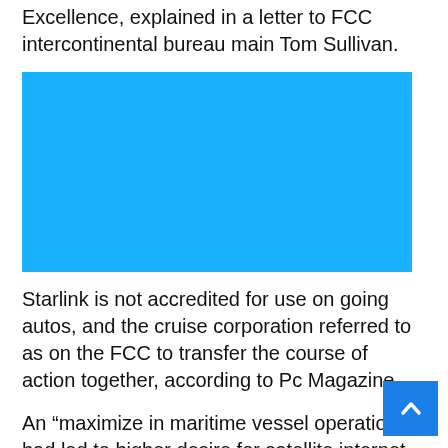Excellence, explained in a letter to FCC intercontinental bureau main Tom Sullivan.
[Figure (photo): A solid bright blue rectangular image placeholder.]
Starlink is not accredited for use on going autos, and the cruise corporation referred to as on the FCC to transfer the course of action together, according to Pc Magazine.
An “maximize in maritime vessel operations” had led to higher desire for satellite internet, Maya reported, but supply challenges “resulted in damaging guest experiences onboard, with